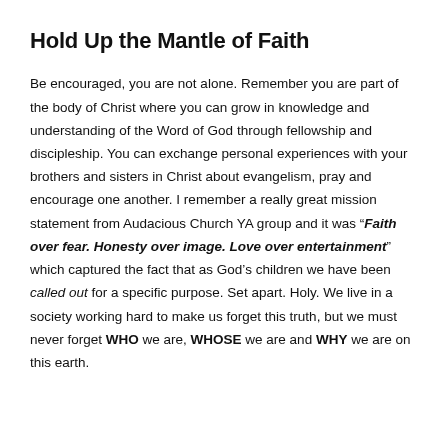Hold Up the Mantle of Faith
Be encouraged, you are not alone. Remember you are part of the body of Christ where you can grow in knowledge and understanding of the Word of God through fellowship and discipleship. You can exchange personal experiences with your brothers and sisters in Christ about evangelism, pray and encourage one another. I remember a really great mission statement from Audacious Church YA group and it was “Faith over fear. Honesty over image. Love over entertainment” which captured the fact that as God’s children we have been called out for a specific purpose. Set apart. Holy. We live in a society working hard to make us forget this truth, but we must never forget WHO we are, WHOSE we are and WHY we are on this earth.